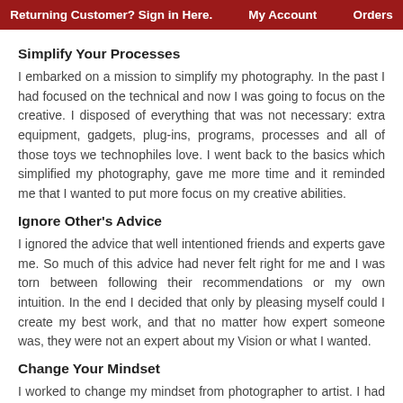Returning Customer? Sign in Here.    My Account    Orders
Simplify Your Processes
I embarked on a mission to simplify my photography. In the past I had focused on the technical and now I was going to focus on the creative. I disposed of everything that was not necessary: extra equipment, gadgets, plug-ins, programs, processes and all of those toys we technophiles love. I went back to the basics which simplified my photography, gave me more time and it reminded me that I wanted to put more focus on my creative abilities.
Ignore Other's Advice
I ignored the advice that well intentioned friends and experts gave me. So much of this advice had never felt right for me and I was torn between following their recommendations or my own intuition. In the end I decided that only by pleasing myself could I create my best work, and that no matter how expert someone was, they were not an expert about my Vision or what I wanted.
Change Your Mindset
I worked to change my mindset from photographer to artist. I had always thought of myself as a photographer who documented,